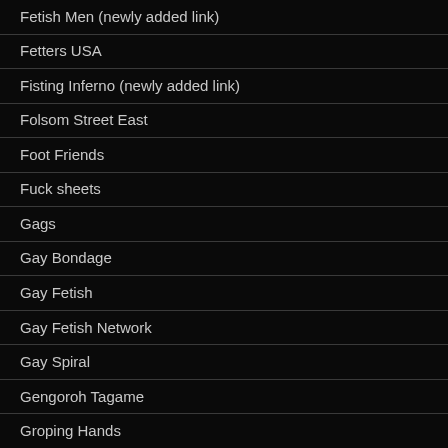Fetish Men (newly added link)
Fetters USA
Fisting Inferno (newly added link)
Folsom Street East
Foot Friends
Fuck sheets
Gags
Gay Bondage
Gay Fetish
Gay Fetish Network
Gay Spiral
Gengoroh Tagame
Groping Hands